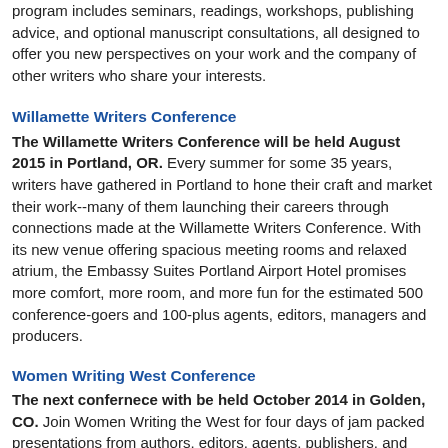program includes seminars, readings, workshops, publishing advice, and optional manuscript consultations, all designed to offer you new perspectives on your work and the company of other writers who share your interests.
Willamette Writers Conference
The Willamette Writers Conference will be held August 2015 in Portland, OR. Every summer for some 35 years, writers have gathered in Portland to hone their craft and market their work--many of them launching their careers through connections made at the Willamette Writers Conference. With its new venue offering spacious meeting rooms and relaxed atrium, the Embassy Suites Portland Airport Hotel promises more comfort, more room, and more fun for the estimated 500 conference-goers and 100-plus agents, editors, managers and producers.
Women Writing West Conference
The next confernece with be held October 2014 in Golden, CO. Join Women Writing the West for four days of jam packed presentations from authors, editors, agents, publishers, and bookstore owners. WWW is an independent, non-profit group of writers of works set in the American West. For this gathering of members from all